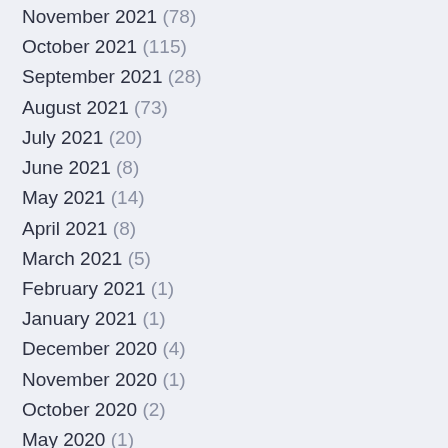November 2021 (78)
October 2021 (115)
September 2021 (28)
August 2021 (73)
July 2021 (20)
June 2021 (8)
May 2021 (14)
April 2021 (8)
March 2021 (5)
February 2021 (1)
January 2021 (1)
December 2020 (4)
November 2020 (1)
October 2020 (2)
May 2020 (1)